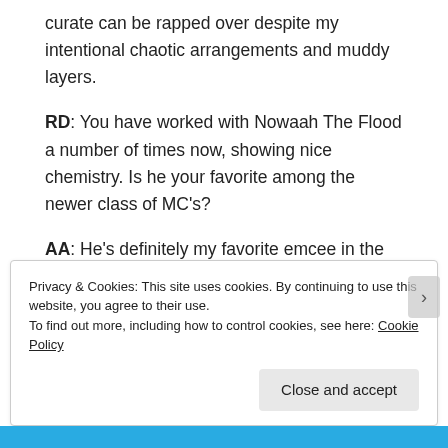curate can be rapped over despite my intentional chaotic arrangements and muddy layers.
RD: You have worked with Nowaah The Flood a number of times now, showing nice chemistry. Is he your favorite among the newer class of MC's?
AA: He's definitely my favorite emcee in the
Privacy & Cookies: This site uses cookies. By continuing to use this website, you agree to their use.
To find out more, including how to control cookies, see here: Cookie Policy
Close and accept